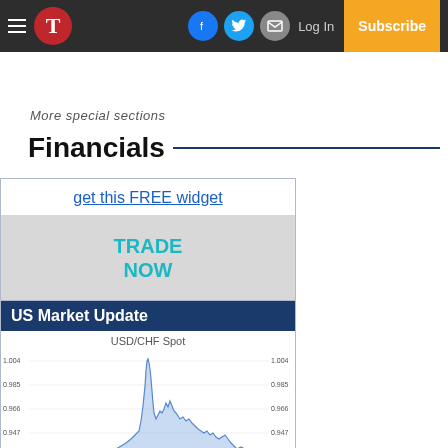T [newspaper logo] | Facebook | Twitter | Email | Log In | Subscribe
More special sections
Financials
get this FREE widget
TRADE NOW
US Market Update
[Figure (continuous-plot): USD/CHF Spot line chart showing price movement over time, ranging approximately from 0.928 to 1.004]